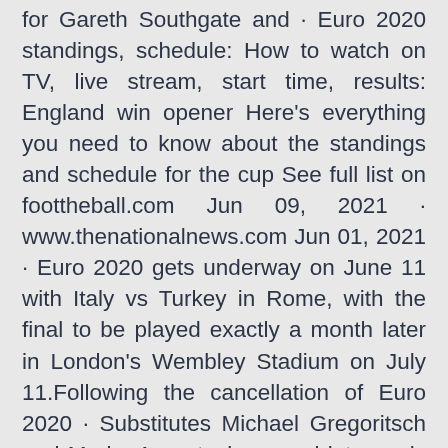for Gareth Southgate and · Euro 2020 standings, schedule: How to watch on TV, live stream, start time, results: England win opener Here's everything you need to know about the standings and schedule for the cup See full list on foottheball.com Jun 09, 2021 · www.thenationalnews.com Jun 01, 2021 · Euro 2020 gets underway on June 11 with Italy vs Turkey in Rome, with the final to be played exactly a month later in London's Wembley Stadium on July 11.Following the cancellation of Euro 2020 · Substitutes Michael Gregoritsch and Marko Arnautovic scored late goals as Austria sealed a 3-1 victory over major tournament debutants North Macedonia in their Group C opener at Euro 2020 on Sunday. May 20, 2021 · Ukraine Euro 2020 fixtures.